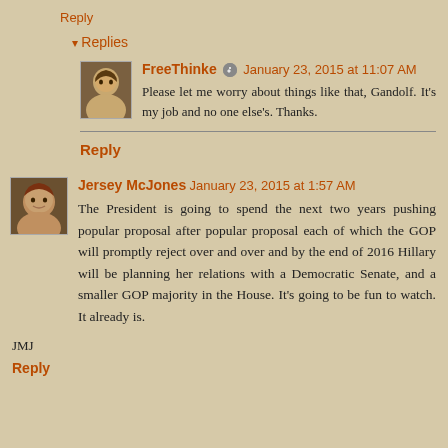Reply
▾ Replies
FreeThinke  January 23, 2015 at 11:07 AM
Please let me worry about things like that, Gandolf. It's my job and no one else's. Thanks.
Reply
Jersey McJones  January 23, 2015 at 1:57 AM
The President is going to spend the next two years pushing popular proposal after popular proposal each of which the GOP will promptly reject over and over and by the end of 2016 Hillary will be planning her relations with a Democratic Senate, and a smaller GOP majority in the House. It's going to be fun to watch. It already is.
JMJ
Reply